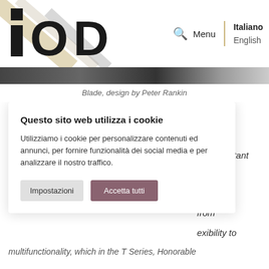[Figure (logo): IOD logo in black with geometric design, decorative diagonal beige/gray lines in upper left background]
Italiano | English | Menu (search icon)
[Figure (photo): Partial image showing a dark gradient strip, likely a product or design object]
Blade, design by Peter Rankin
Questo sito web utilizza i cookie
Utilizziamo i cookie per personalizzare contenuti ed annunci, per fornire funzionalità dei social media e per analizzare il nostro traffico.
Impostazioni | Accetta tutti
respect
and constant
nization
h design
from
exibility to
multifunctionality, which in the T Series, Honorable